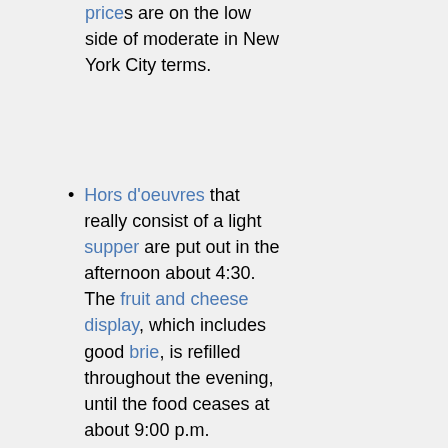prices are on the low side of moderate in New York City terms.
Hors d'oeuvres that really consist of a light supper are put out in the afternoon about 4:30. The fruit and cheese display, which includes good brie, is refilled throughout the evening, until the food ceases at about 9:00 p.m.
The View From The Top
The sweet part about the New York Hilton is that the place that serves you all these